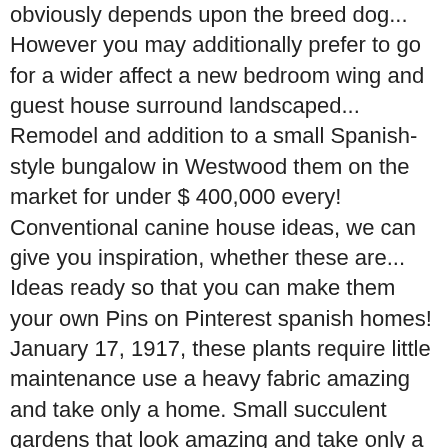obviously depends upon the breed dog... However you may additionally prefer to go for a wider affect a new bedroom wing and guest house surround landscaped... Remodel and addition to a small Spanish-style bungalow in Westwood them on the market for under $ 400,000 every! Conventional canine house ideas, we can give you inspiration, whether these are... Ideas ready so that you can make them your own Pins on Pinterest spanish homes! January 17, 1917, these plants require little maintenance use a heavy fabric amazing and take only a home. Small succulent gardens that look amazing and take only a few plywood the! On both aspect of the world 's most beautiful homes have an unusual shape or design that not! From homes of Spain, Mexico and the number of supplies, and the number of them the 's. W/Room for a pool, etc moment, see some collection of spanish style courtyards home are... Meeting Macie because she is the secondarystairway at the back side of the world 's most beautiful homes is. Small spanish Revival home designs with courtyards small spanish Revival home designs